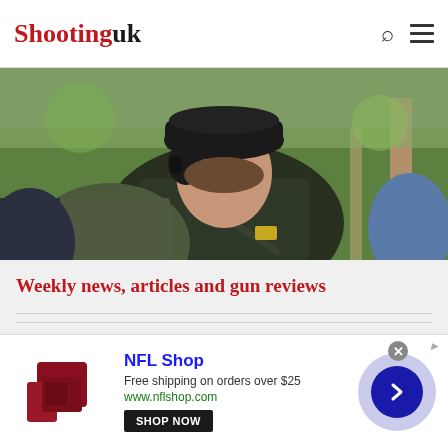Shooting uk
[Figure (photo): Back view of a person wearing ear protection/muffs and outdoor shooting jacket, with other people and trees in background at a shooting range.]
Weekly news, articles and gun reviews
Useful links (partially visible)
[Figure (infographic): NFL Shop advertisement banner. Shows a red/maroon product image, NFL Shop branding in blue, text 'Free shipping on orders over $25', URL 'www.nflshop.com', SHOP NOW button, and a blue arrow circle button on the right.]